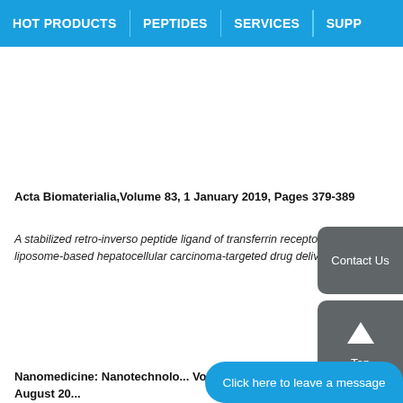HOT PRODUCTS | PEPTIDES | SERVICES | SUPP...
Acta Biomaterialia,Volume 83, 1 January 2019, Pages 379-389
A stabilized retro-inverso peptide ligand of transferrin receptor for enhanced liposome-based hepatocellular carcinoma-targeted drug delivery
Journal... 2018, Pa...
Dual fun... triple co... vivoneu...
Nanomedicine: Nanotechnology... Volume 14, Issue 6, August 20...
Contact Us
Top
Click here to leave a message